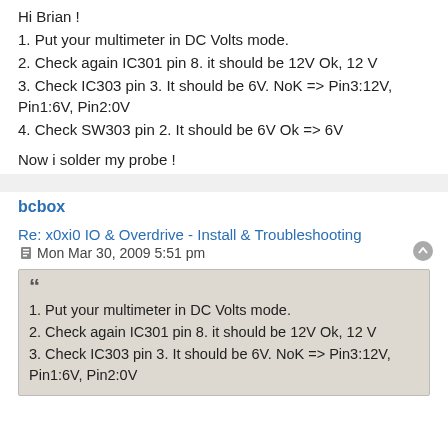Hi Brian !
1. Put your multimeter in DC Volts mode.
2. Check again IC301 pin 8. it should be 12V Ok, 12 V
3. Check IC303 pin 3. It should be 6V. NoK => Pin3:12V, Pin1:6V, Pin2:0V
4. Check SW303 pin 2. It should be 6V Ok => 6V
Now i solder my probe !
bcbox
Re: x0xi0 IO & Overdrive - Install & Troubleshooting
Mon Mar 30, 2009 5:51 pm
1. Put your multimeter in DC Volts mode.
2. Check again IC301 pin 8. it should be 12V Ok, 12 V
3. Check IC303 pin 3. It should be 6V. NoK => Pin3:12V, Pin1:6V, Pin2:0V